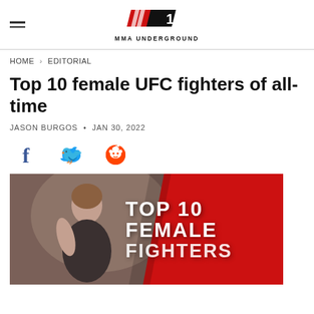MMA UNDERGROUND
HOME > EDITORIAL
Top 10 female UFC fighters of all-time
JASON BURGOS • JAN 30, 2022
[Figure (illustration): Social media share icons: Facebook (f), Twitter bird, Reddit alien]
[Figure (photo): Hero image with a female UFC fighter in a cage, overlaid with bold white text reading TOP 10 FEMALE FIGHTERS on a red background panel on the right]